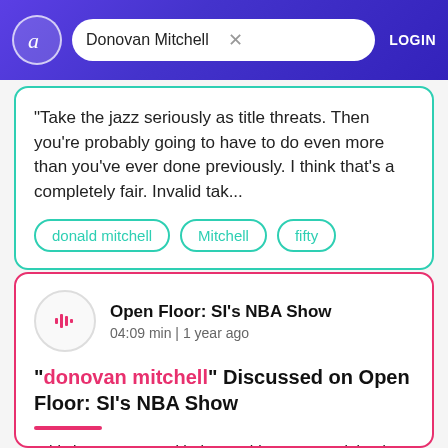[Figure (screenshot): App header with purple gradient background, circular logo with letter 'a', search bar containing 'Donovan Mitchell', close button, and LOGIN text]
"Take the jazz seriously as title threats. Then you're probably going to have to do even more than you've ever done previously. I think that's a completely fair. Invalid tak...
donald mitchell
Mitchell
fifty
Open Floor: SI's NBA Show
04:09 min | 1 year ago
"donovan mitchell" Discussed on Open Floor: SI's NBA Show
"This is vancouver with the washington. Post joined on the other line by michael. The pod pena of sports illustrated